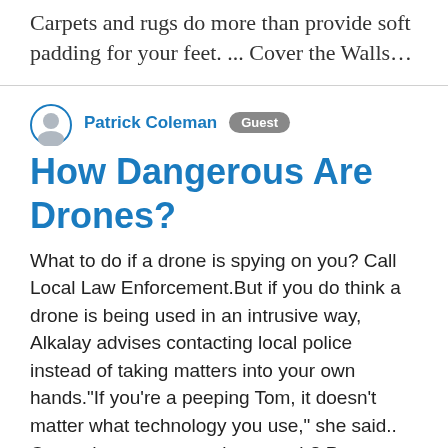Carpets and rugs do more than provide soft padding for your feet. ... Cover the Walls…
[Figure (illustration): Circular avatar icon of a person (Patrick Coleman)]
Patrick Coleman   Guest
How Dangerous Are Drones?
What to do if a drone is spying on you? Call Local Law Enforcement.But if you do think a drone is being used in an intrusive way, Alkalay advises contacting local police instead of taking matters into your own hands."If you're a peeping Tom, it doesn't matter what technology you use," she said.. Can a drone cause a plane crash? Pretty important, is the short answer! The entire weight of an aircraft is suspended on the wing spars, and if one of them became significantly damaged, there is little chance that the aircraft would be able to maintain its